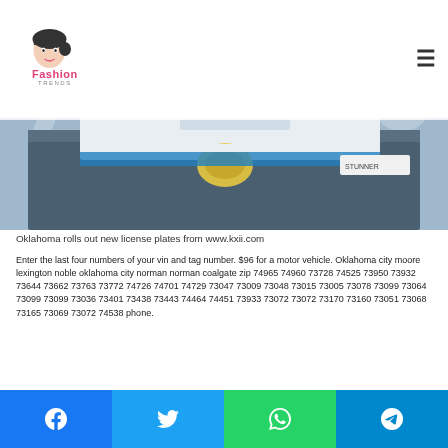Fashion Trends
[Figure (photo): License plate / vehicle image with blue sky background, partial view of a car or train with white/yellow elements]
Oklahoma rolls out new license plates from www.kxii.com
Enter the last four numbers of your vin and tag number. $96 for a motor vehicle. Oklahoma city moore lexington noble oklahoma city norman norman coalgate zip 74965 74960 73728 74525 73950 73932 73644 73662 73763 73772 74726 74701 74729 73047 73009 73048 73015 73005 73078 73099 73064 73099 73099 73036 73401 73438 73443 74464 74451 73933 73072 73072 73170 73160 73051 73068 73165 73069 73072 74538 phone.
Facebook Twitter WhatsApp Telegram